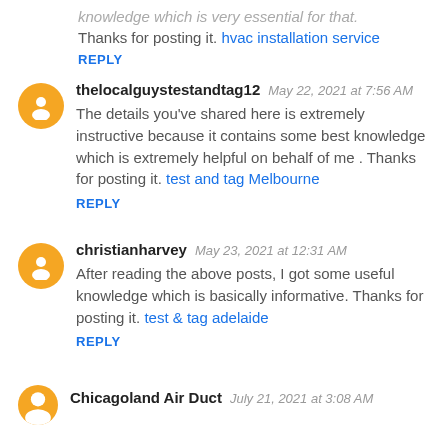knowledge which is very essential for that. Thanks for posting it. hvac installation service
REPLY
thelocalguystestandtag12  May 22, 2021 at 7:56 AM
The details you've shared here is extremely instructive because it contains some best knowledge which is extremely helpful on behalf of me . Thanks for posting it. test and tag Melbourne
REPLY
christianharvey  May 23, 2021 at 12:31 AM
After reading the above posts, I got some useful knowledge which is basically informative. Thanks for posting it. test & tag adelaide
REPLY
Chicagoland Air Duct  July 21, 2021 at 3:08 AM